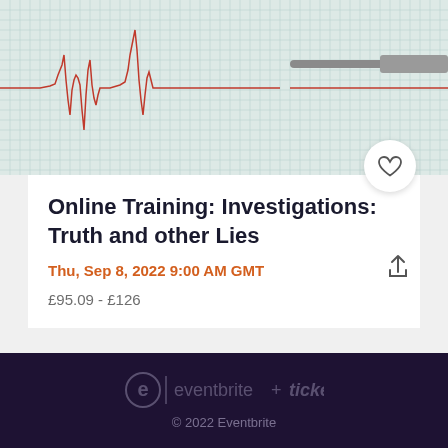[Figure (photo): A seismograph/polygraph paper with red oscillating waveform lines and a needle/stylus visible on the right side]
Online Training: Investigations: Truth and other Lies
Thu, Sep 8, 2022 9:00 AM GMT
£95.09 - £126
© 2022 Eventbrite